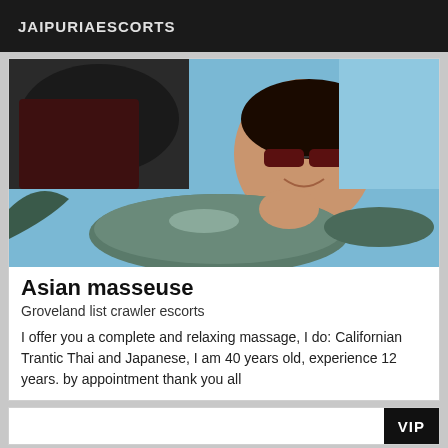JAIPURIAESCORTS
[Figure (photo): Woman with sunglasses smiling, leaning over dolphin sculptures outdoors with blue sky background]
Asian masseuse
Groveland list crawler escorts
I offer you a complete and relaxing massage, I do: Californian Trantic Thai and Japanese, I am 40 years old, experience 12 years. by appointment thank you all
VIP